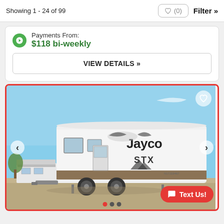Showing 1 - 24 of 99
Payments From:
$118 bi-weekly
VIEW DETAILS »
[Figure (photo): Photo of a white Jayco Jay Feather (SLX series) travel trailer RV parked in a lot under a blue sky. Other RVs and trees visible in background. Red border around image. Heart icon top-right, left/right navigation arrows, 'Text Us!' button bottom-right, and dot navigation indicators at bottom.]